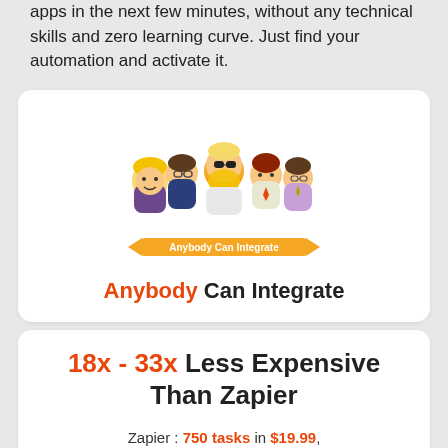apps in the next few minutes, without any technical skills and zero learning curve. Just find your automation and activate it.
[Figure (illustration): Group of five cartoon characters representing different professions with an orange ribbon banner reading 'Anybody Can Integrate']
Anybody Can Integrate
18x - 33x Less Expensive Than Zapier
Zapier : 750 tasks in $19.99, Integrately : 14,000 tasks in $19.99